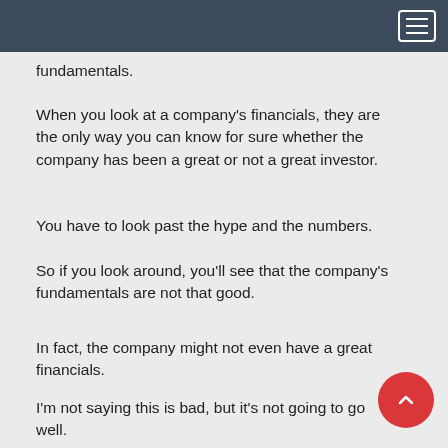fundamentals.
When you look at a company’s financials, they are the only way you can know for sure whether the company has been a great or not a great investor.
You have to look past the hype and the numbers.
So if you look around, you’ll see that the company’s fundamentals are not that good.
In fact, the company might not even have a great financials.
I’m not saying this is bad, but it’s not going to go well.